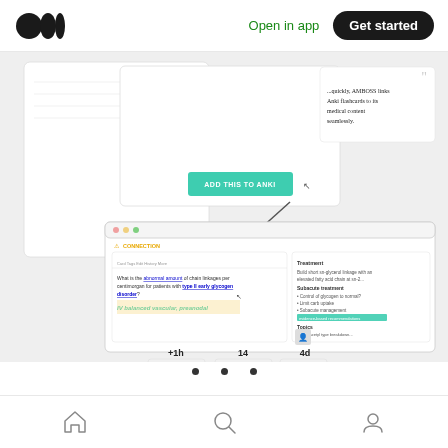Open in app  Get started
[Figure (screenshot): Screenshot of a medical education app (AMBOSS) integrated with Anki flashcards, showing a flashcard question about type II early glycogen disorder, with teal highlighted text 'IV balanced vascular, preanodal', stats panel on right side with Treatment section highlighted, and study stats showing +1h, 14, 4d with More 7%, Accept, Later buttons. A quote overlay reads '...quickly, AMBOSS links Anki flashcards to its medical content seamlessly.']
• • •
After talking to the med students, it became very
Home  Search  Profile